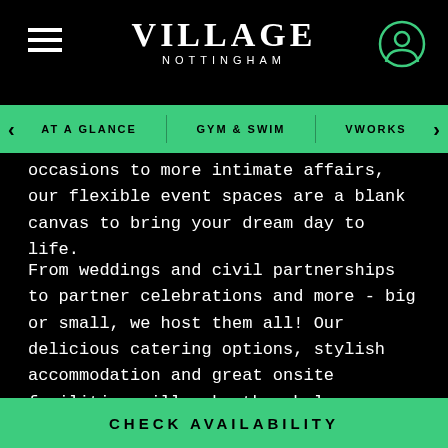VILLAGE NOTTINGHAM
AT A GLANCE  GYM & SWIM  VWORKS
occasions to more intimate affairs, our flexible event spaces are a blank canvas to bring your dream day to life.
From weddings and civil partnerships to partner celebrations and more - big or small, we host them all! Our delicious catering options, stylish accommodation and great onsite facilities will make the whole occasion more
READ MORE
MAKE AN ENQUIRY
CHECK AVAILABILITY